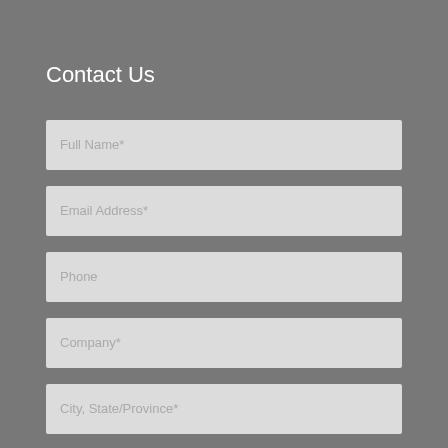Contact Us
Full Name*
Email Address*
Phone
Company*
City, State/Province*
How can we help?*